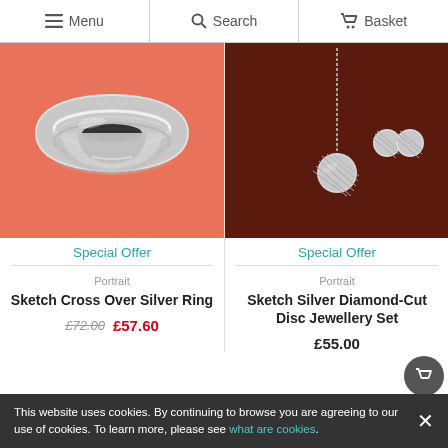Menu | Search | Basket
[Figure (photo): Silver ring with layered bands on a salmon/coral pink background]
Special Offer
Portrait
Sketch Cross Over Silver Ring
£72.00  £57.60
[Figure (photo): Silver diamond-cut disc necklace and earring set on dark brown background]
Special Offer
Portrait
Sketch Silver Diamond-Cut Disc Jewellery Set
£55.00
This website uses cookies. By continuing to browse you are agreeing to our use of cookies. To learn more, please see what are cookies.